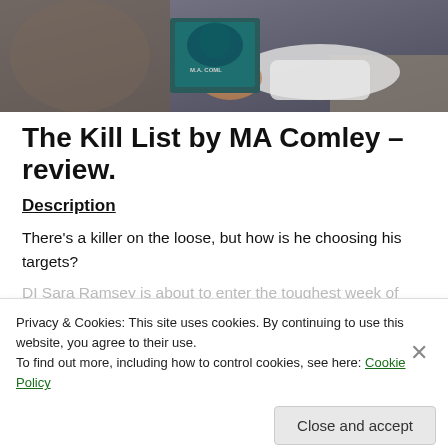[Figure (photo): Person holding a book titled 'The Kill List' by MA Comley, blurred background]
The Kill List by MA Comley – review.
Description
There's a killer on the loose, but how is he choosing his targets?
DI Sara Ramsey is about to enter the toughest week of
Privacy & Cookies: This site uses cookies. By continuing to use this website, you agree to their use.
To find out more, including how to control cookies, see here: Cookie Policy
Close and accept